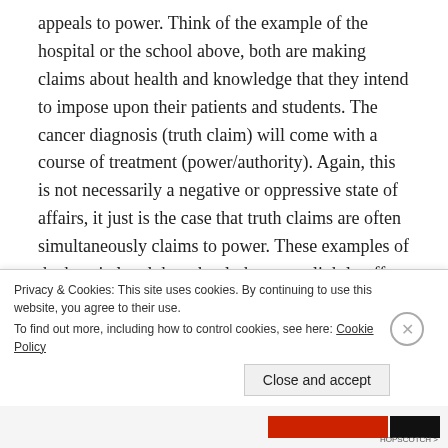appeals to power. Think of the example of the hospital or the school above, both are making claims about health and knowledge that they intend to impose upon their patients and students. The cancer diagnosis (truth claim) will come with a course of treatment (power/authority). Again, this is not necessarily a negative or oppressive state of affairs, it just is the case that truth claims are often simultaneously claims to power. These examples of the hospital and the school, throw us slightly off the trail. What we are particularly interested in for the purposes of this piece, is how
Privacy & Cookies: This site uses cookies. By continuing to use this website, you agree to their use.
To find out more, including how to control cookies, see here: Cookie Policy
Close and accept